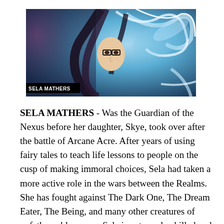[Figure (illustration): Fantasy illustration of Sela Mathers, a woman with dark flowing hair and glasses, surrounded by blue and white magical energy swirls. Text label 'SELA MATHERS' in bold white on black background in the lower left corner of the image.]
SELA MATHERS - Was the Guardian of the Nexus before her daughter, Skye, took over after the battle of Arcane Acre. After years of using fairy tales to teach life lessons to people on the cusp of making immoral choices, Sela had taken a more active role in the wars between the Realms. She has fought against The Dark One, The Dream Eater, The Being, and many other creatures of unfathomable power. Sela is extremely skilled and well-equipped to take on any enemy who stands